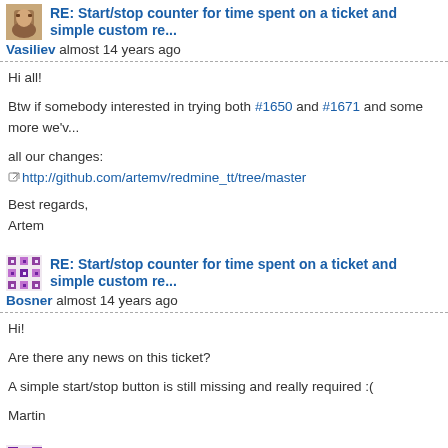RE: Start/stop counter for time spent on a ticket and simple custom re...
Vasiliev almost 14 years ago
Hi all!
Btw if somebody interested in trying both #1650 and #1671 and some more we've all our changes:
http://github.com/artemv/redmine_tt/tree/master
Best regards,
Artem
RE: Start/stop counter for time spent on a ticket and simple custom re...
Bosner almost 14 years ago
Hi!
Are there any news on this ticket?
A simple start/stop button is still missing and really required :(
Martin
RE: Start/stop counter for time spent on a ticket and simple custom re...
Thomas F. almost 10 years ago
Hello,
there is a plugin, the Redmine Time Tracker [1][2], but unfortunately it is only ava... guess. I'm actually using version 2 with the new Rails version, which is 3, i guess. Also, there are several forks of the redmine_time_tracker ([3][4] and several othe...